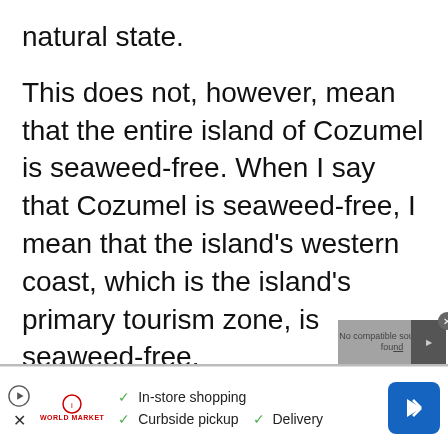natural state.
This does not, however, mean that the entire island of Cozumel is seaweed-free. When I say that Cozumel is seaweed-free, I mean that the island’s western coast, which is the island’s primary tourism zone, is seaweed-free.
The east coast of Cozumel is affected by
[Figure (screenshot): Video player overlay showing 'No compatible source was found' error message with a close button (x)]
[Figure (screenshot): Advertisement banner with play icon, World Market logo, checkmarks for In-store shopping, Curbside pickup, Delivery, and a blue navigation arrow icon]